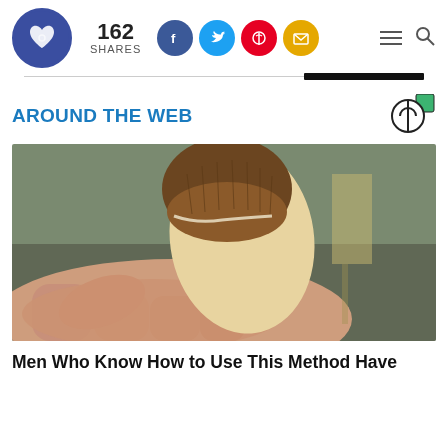[Figure (screenshot): Website header with logo (circular dark blue icon with heart), share count '162 SHARES', social media icons (Facebook blue, Twitter blue, Pinterest red, Email yellow), hamburger menu icon, and search icon]
AROUND THE WEB
[Figure (photo): Close-up photo of a hand holding a nut or seed with its shell partially removed, revealing the pale interior. Brown fuzzy shell at the top half, cream-colored smooth seed below. Background shows a blurred outdoor scene.]
Men Who Know How to Use This Method Have